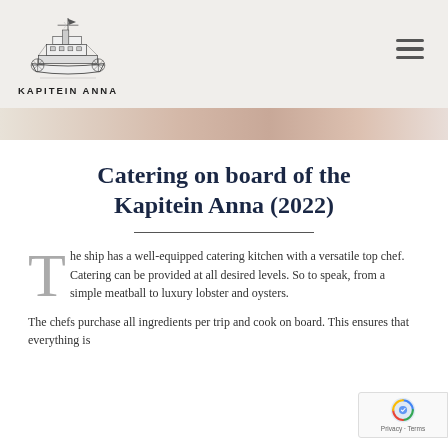[Figure (logo): Kapitein Anna ship logo — pen-and-ink style drawing of a steamship with the text KAPITEIN ANNA below]
Catering on board of the Kapitein Anna (2022)
The ship has a well-equipped catering kitchen with a versatile top chef. Catering can be provided at all desired levels. So to speak, from a simple meatball to luxury lobster and oysters.
The chefs purchase all ingredients per trip and cook on board. This ensures that everything is